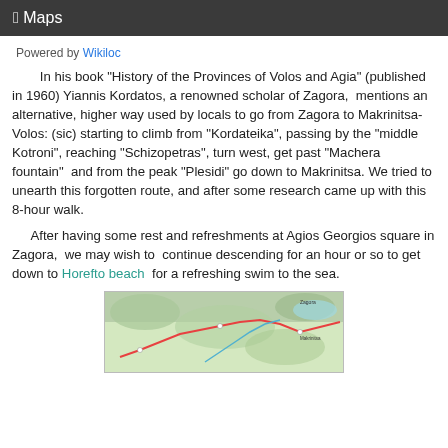Maps
Powered by Wikiloc
In his book "History of the Provinces of Volos and Agia" (published in 1960) Yiannis Kordatos, a renowned scholar of Zagora,  mentions an alternative, higher way used by locals to go from Zagora to Makrinitsa-Volos: (sic) starting to climb from "Kordateika", passing by the "middle Kotroni", reaching "Schizopetras", turn west, get past "Machera fountain"  and from the peak "Plesidi" go down to Makrinitsa. We tried to unearth this forgotten route, and after some research came up with this 8-hour walk.
After having some rest and refreshments at Agios Georgios square in Zagora,  we may wish to  continue descending for an hour or so to get down to Horefto beach  for a refreshing swim to the sea.
[Figure (map): Topographic map showing a hiking route in the Pelion region of Greece, with colored path lines overlaid on terrain.]